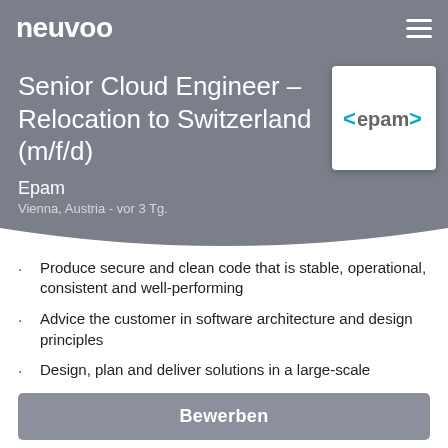neuvoo
Senior Cloud Engineer – Relocation to Switzerland (m/f/d)
Epam
Vienna, Austria - vor 3 Tg.
[Figure (logo): EPAM logo: <epam> in teal angle brackets on white background]
Produce secure and clean code that is stable, operational, consistent and well-performing
Advice the customer in software architecture and design principles
Design, plan and deliver solutions in a large-scale
Bewerben
Develop high quality, maintainable code for a mission